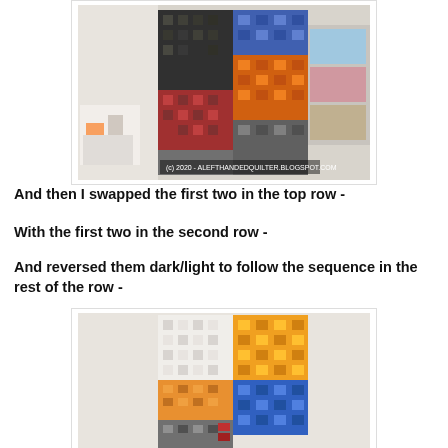[Figure (photo): Quilt blocks arranged on a design wall showing dark/colorful squares pattern with black, orange, red, gray, and blue sections. Watermark text: (c) 2020 - ALEFTHANDEDQUILTER.BLOGSPOT.COM]
And then I swapped the first two in the top row -
With the first two in the second row -
And reversed them dark/light to follow the sequence in the rest of the row -
[Figure (photo): Quilt blocks arranged on a design wall showing lighter pattern with white, orange/yellow, blue, gray, and red sections in a pixelated/mosaic arrangement.]